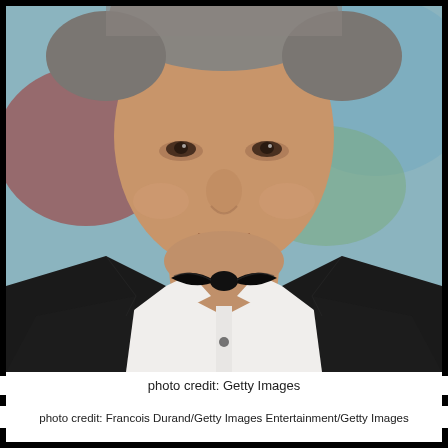[Figure (photo): Close-up photo of a man wearing a black tuxedo with white dress shirt and black bow tie, smiling slightly, with blurred colorful background. The man has short salt-and-pepper hair.]
photo credit: Getty Images
photo credit: Francois Durand/Getty Images Entertainment/Getty Images